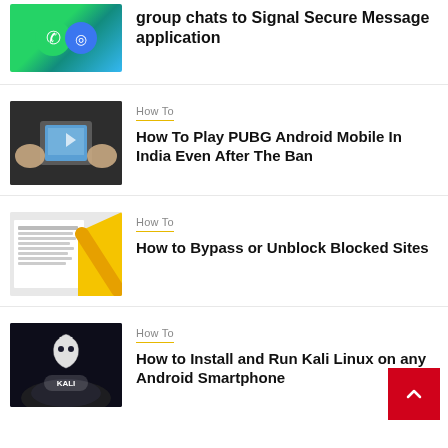[Figure (photo): WhatsApp and Signal app icons (partial, top of page)]
How to move your WhatsApp group chats to Signal Secure Message application
[Figure (photo): Person holding smartphone playing PUBG mobile game]
How To
How To Play PUBG Android Mobile In India Even After The Ban
[Figure (photo): Page cannot be displayed error with yellow geometric shape]
How To
How to Bypass or Unblock Blocked Sites
[Figure (photo): Kali Linux logo on dark background with smoke]
How To
How to Install and Run Kali Linux on any Android Smartphone